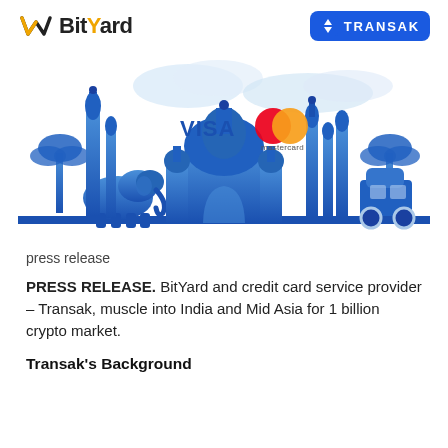[Figure (logo): BitYard logo — checkmark/arrow icon in gold and black, text 'BitYard' in bold with gold 'Y']
[Figure (logo): Transak logo — blue rounded rectangle with up-down arrows icon and white text 'TRANSAK']
[Figure (illustration): Illustrated India skyline in blue gradient silhouette featuring Taj Mahal, mosques, palm trees, elephant, and auto-rickshaw. VISA and Mastercard logos overlaid in center.]
press release
PRESS RELEASE. BitYard and credit card service provider – Transak, muscle into India and Mid Asia for 1 billion crypto market.
Transak's Background